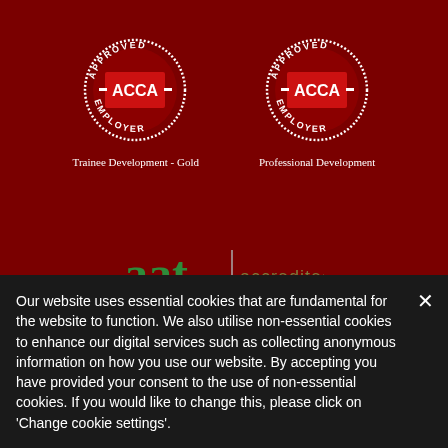[Figure (logo): ACCA Approved Employer - Trainee Development Gold badge (circular badge with ACCA logo in center)]
Trainee Development - Gold
[Figure (logo): ACCA Approved Employer - Professional Development badge (circular badge with ACCA logo in center)]
Professional Development
[Figure (logo): AAT accredited logo in green]
Our website uses essential cookies that are fundamental for the website to function. We also utilise non-essential cookies to enhance our digital services such as collecting anonymous information on how you use our website. By accepting you have provided your consent to the use of non-essential cookies. If you would like to change this, please click on 'Change cookie settings'.
Accept & Close
Change cookie settings